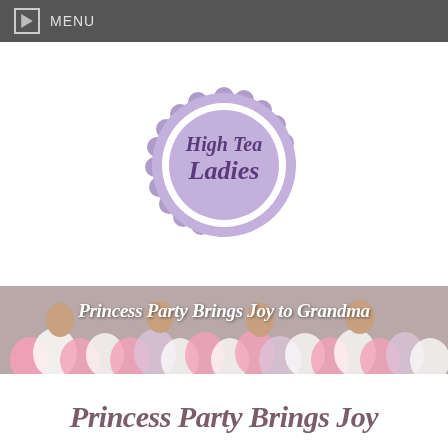MENU
[Figure (logo): High Tea Ladies circular scalloped logo in lavender/purple colors]
[Figure (photo): Photo of people (grandma and others) at a princess party with pink and white balloons, overlaid with scalloped white borders top and bottom]
Princess Party Brings Joy to Grandma
Princess Party Brings Joy